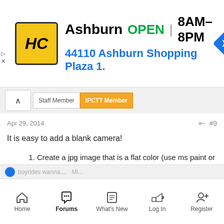[Figure (screenshot): Advertisement banner for Ashburn location with HC logo, OPEN status, hours 8AM–8PM, address 44110 Ashburn Shopping Plaza 1., and navigation arrow icon]
Apr 29, 2014
#9
It is easy to add a blank camera!
Create a jpg image that is a flat color (use ms paint or something).
Put this jpg image on a web server accessible to BI
Create a Jpeg refresh camera pointing at the image you created
Home  Forums  What's New  Log In  Register